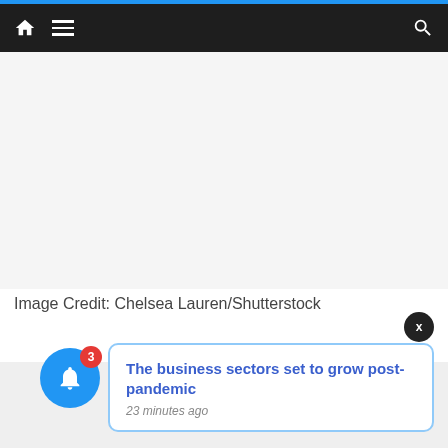Navigation bar with home, menu, and search icons
[Figure (photo): Blank image placeholder area with image credit below]
Image Credit: Chelsea Lauren/Shutterstock
The business sectors set to grow post-pandemic
23 minutes ago